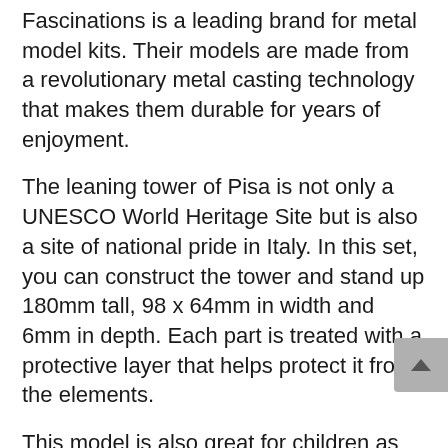Fascinations is a leading brand for metal model kits. Their models are made from a revolutionary metal casting technology that makes them durable for years of enjoyment.
The leaning tower of Pisa is not only a UNESCO World Heritage Site but is also a site of national pride in Italy. In this set, you can construct the tower and stand up 180mm tall, 98 x 64mm in width and 6mm in depth. Each part is treated with a protective layer that helps protect it from the elements.
This model is also great for children as the manufacturer offers a video tutorial on assembly. Although it's a bit too detailed for young children, the model will easily amuse your five- or six-year-old kids.